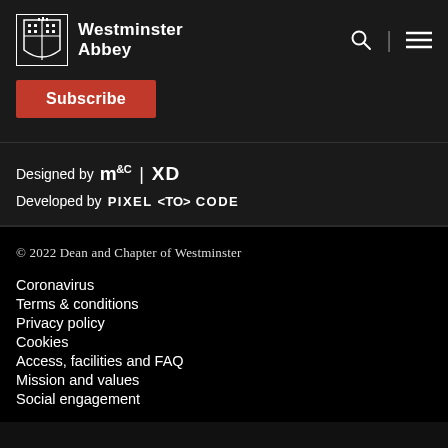Westminster Abbey
Subscribe
Designed by M&C XD
Developed by PIXEL <TO> CODE
© 2022 Dean and Chapter of Westminster
Coronavirus
Terms & conditions
Privacy policy
Cookies
Access, facilities and FAQ
Mission and values
Social engagement